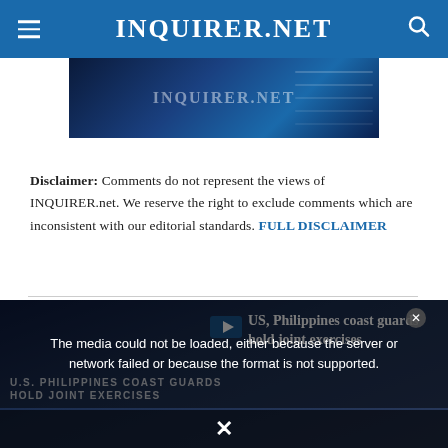INQUIRER.NET
[Figure (screenshot): INQUIRER.NET banner image with blue digital background]
Disclaimer: Comments do not represent the views of INQUIRER.net. We reserve the right to exclude comments which are inconsistent with our editorial standards. FULL DISCLAIMER
[Figure (screenshot): Video player showing 'U.S. Philippines Coast Guards Hold Joint Exercises' with error overlay: The media could not be loaded, either because the server or network failed or because the format is not supported. Alongside headline: US, Philippines coast guards hold joint exercises]